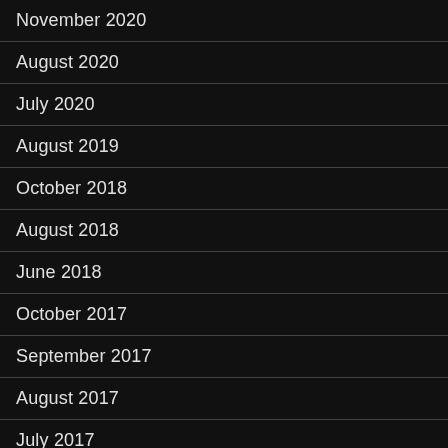November 2020
August 2020
July 2020
August 2019
October 2018
August 2018
June 2018
October 2017
September 2017
August 2017
July 2017
June 2017
May 2017